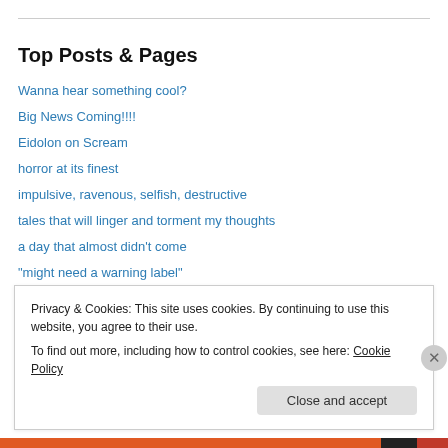Top Posts & Pages
Wanna hear something cool?
Big News Coming!!!!
Eidolon on Scream
horror at its finest
impulsive, ravenous, selfish, destructive
tales that will linger and torment my thoughts
a day that almost didn't come
"might need a warning label"
words ingathering - Apt. 2E - Eidolon Avenue: The Second Feast
torment - Apt. 2D - Eidolon Avenue: The Second Feast
Privacy & Cookies: This site uses cookies. By continuing to use this website, you agree to their use. To find out more, including how to control cookies, see here: Cookie Policy